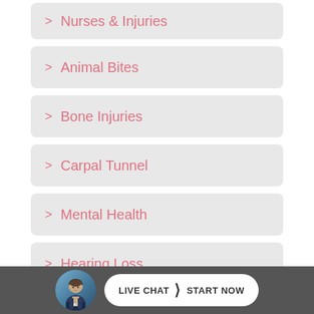Nurses & Injuries
Animal Bites
Bone Injuries
Carpal Tunnel
Mental Health
Hearing Loss
Hepatitis B
Lung Diseases
LIVE CHAT > START NOW